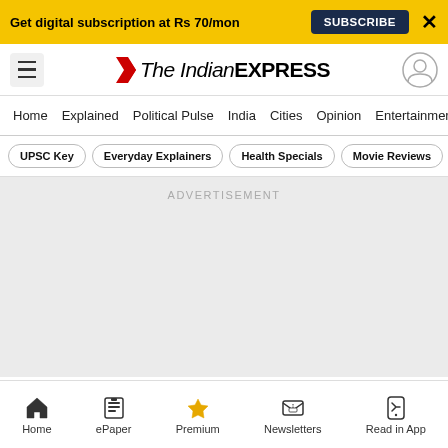Get digital subscription at Rs 70/mon
SUBSCRIBE
X
[Figure (logo): The Indian Express logo with red chevron icon]
Home  Explained  Political Pulse  India  Cities  Opinion  Entertainment
UPSC Key
Everyday Explainers
Health Specials
Movie Reviews
ADVERTISEMENT
Home
ePaper
Premium
Newsletters
Read in App